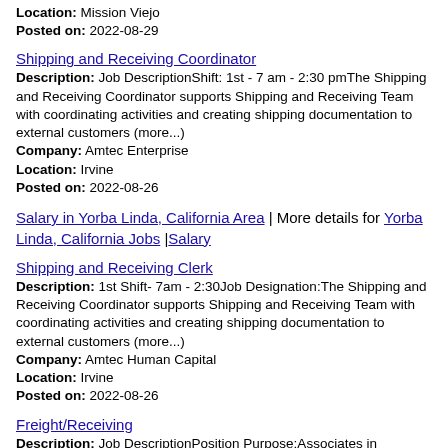Location: Mission Viejo
Posted on: 2022-08-29
Shipping and Receiving Coordinator
Description: Job DescriptionShift: 1st - 7 am - 2:30 pmThe Shipping and Receiving Coordinator supports Shipping and Receiving Team with coordinating activities and creating shipping documentation to external customers (more...)
Company: Amtec Enterprise
Location: Irvine
Posted on: 2022-08-26
Salary in Yorba Linda, California Area | More details for Yorba Linda, California Jobs |Salary
Shipping and Receiving Clerk
Description: 1st Shift- 7am - 2:30Job Designation:The Shipping and Receiving Coordinator supports Shipping and Receiving Team with coordinating activities and creating shipping documentation to external customers (more...)
Company: Amtec Human Capital
Location: Irvine
Posted on: 2022-08-26
Freight/Receiving
Description: Job DescriptionPosition Purpose:Associates in FreightReceiving positions ensure the